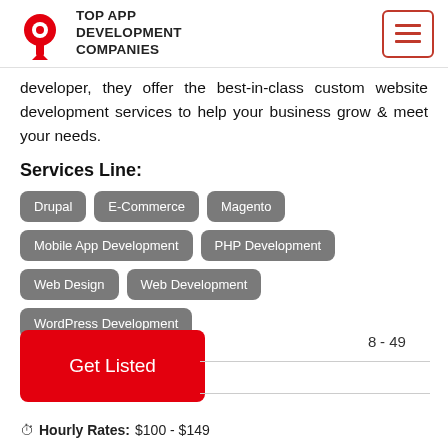TOP APP DEVELOPMENT COMPANIES
developer, they offer the best-in-class custom website development services to help your business grow & meet your needs.
Services Line:
Drupal
E-Commerce
Magento
Mobile App Development
PHP Development
Web Design
Web Development
WordPress Development
- 49
Hourly Rates: $100 - $149